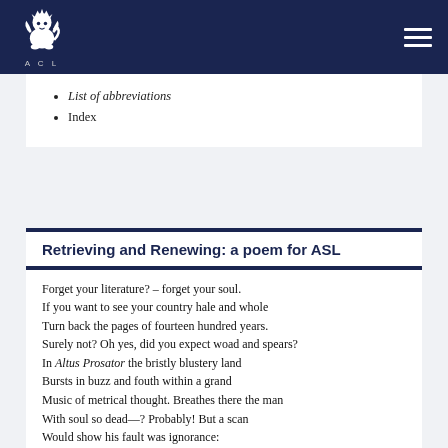ACL logo and navigation
List of abbreviations
Index
Retrieving and Renewing: a poem for ASL
Forget your literature? – forget your soul.
If you want to see your country hale and whole
Turn back the pages of fourteen hundred years.
Surely not? Oh yes, did you expect woad and spears?
In Altus Prosator the bristly blustery land
Bursts in buzz and fouth within a grand
Music of metrical thought. Breathes there the man
With soul so dead—? Probably! But a scan
Would show his fault was ignorance: